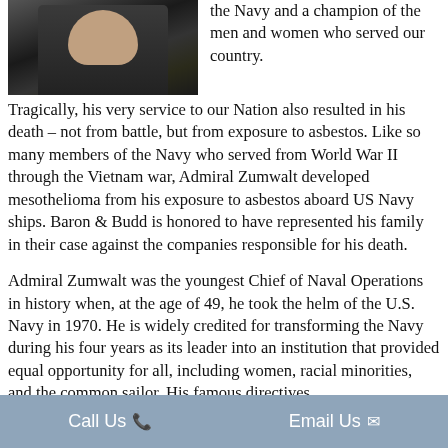[Figure (photo): Photo of Admiral Zumwalt in military uniform with medals/ribbons, dark background]
the Navy and a champion of the men and women who served our country. Tragically, his very service to our Nation also resulted in his death – not from battle, but from exposure to asbestos. Like so many members of the Navy who served from World War II through the Vietnam war, Admiral Zumwalt developed mesothelioma from his exposure to asbestos aboard US Navy ships. Baron & Budd is honored to have represented his family in their case against the companies responsible for his death.
Admiral Zumwalt was the youngest Chief of Naval Operations in history when, at the age of 49, he took the helm of the U.S. Navy in 1970. He is widely credited for transforming the Navy during his four years as its leader into an institution that provided equal opportunity for all, including women, racial minorities, and the common sailor. His famous directives.
Call Us   Email Us